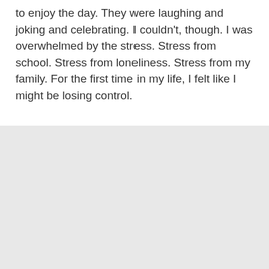to enjoy the day. They were laughing and joking and celebrating. I couldn't, though. I was overwhelmed by the stress. Stress from school. Stress from loneliness. Stress from my family. For the first time in my life, I felt like I might be losing control.